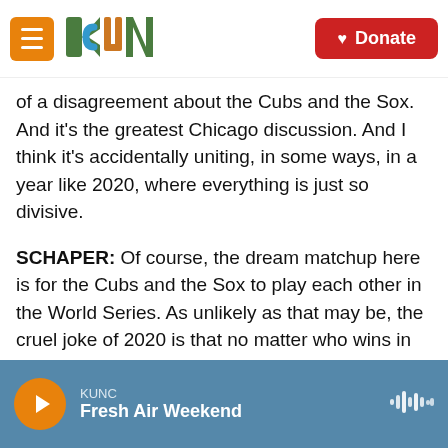[Figure (screenshot): KUNC radio station website header with hamburger menu button, KUNC logo, and red Donate button]
of a disagreement about the Cubs and the Sox. And it's the greatest Chicago discussion. And I think it's accidentally uniting, in some ways, in a year like 2020, where everything is just so divisive.
SCHAPER: Of course, the dream matchup here is for the Cubs and the Sox to play each other in the World Series. As unlikely as that may be, the cruel joke of 2020 is that no matter who wins in the playoffs, the World Series will be in a neutral ballpark in Texas, and fans won't be there.
David Schaper, NPR News, Chicago.
KUNC Fresh Air Weekend